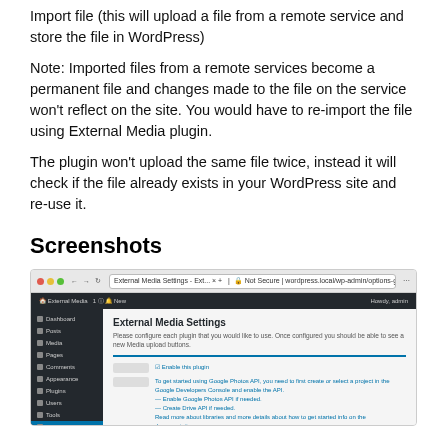Import file (this will upload a file from a remote service and store the file in WordPress)
Note: Imported files from a remote services become a permanent file and changes made to the file on the service won’t reflect on the site. You would have to re-import the file using External Media plugin.
The plugin won’t upload the same file twice, instead it will check if the file already exists in your WordPress site and re-use it.
Screenshots
[Figure (screenshot): Screenshot of the External Media Settings page in the WordPress admin panel, showing configuration options for external media services including Google Photos, with a sidebar navigation and settings fields.]